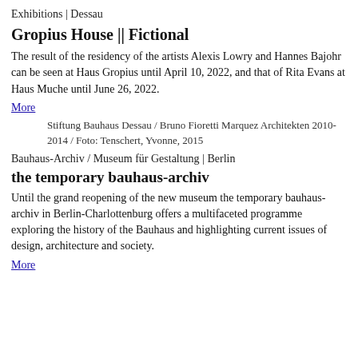Exhibitions | Dessau
Gropius House || Fictional
The result of the residency of the artists Alexis Lowry and Hannes Bajohr can be seen at Haus Gropius until April 10, 2022, and that of Rita Evans at Haus Muche until June 26, 2022.
More
Stiftung Bauhaus Dessau / Bruno Fioretti Marquez Architekten 2010-2014 / Foto: Tenschert, Yvonne, 2015
Bauhaus-Archiv / Museum für Gestaltung | Berlin
the temporary bauhaus-archiv
Until the grand reopening of the new museum the temporary bauhaus-archiv in Berlin-Charlottenburg offers a multifaceted programme exploring the history of the Bauhaus and highlighting current issues of design, architecture and society.
More